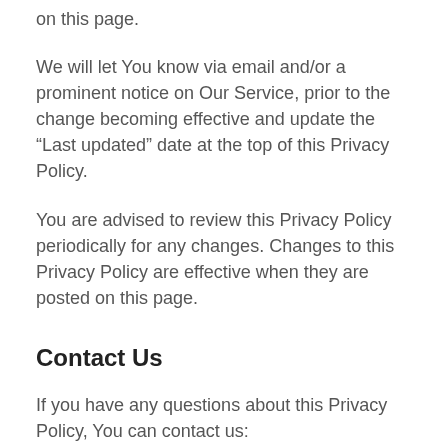on this page.
We will let You know via email and/or a prominent notice on Our Service, prior to the change becoming effective and update the “Last updated” date at the top of this Privacy Policy.
You are advised to review this Privacy Policy periodically for any changes. Changes to this Privacy Policy are effective when they are posted on this page.
Contact Us
If you have any questions about this Privacy Policy, You can contact us:
By email: admin@fendireplica.ru